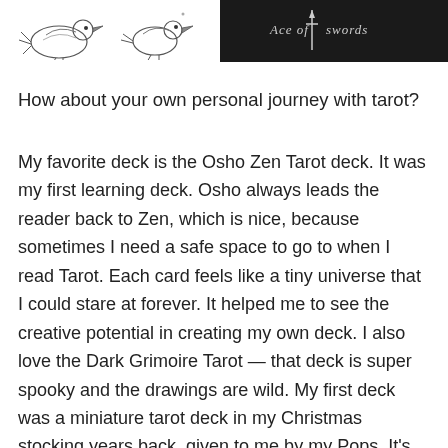[Figure (illustration): Two sketched bird illustrations (black and white pencil drawings) on left, and a dark/black card with cursive text 'Ace of Swords' and a sword symbol on right]
How about your own personal journey with tarot?
My favorite deck is the Osho Zen Tarot deck. It was my first learning deck. Osho always leads the reader back to Zen, which is nice, because sometimes I need a safe space to go to when I read Tarot. Each card feels like a tiny universe that I could stare at forever. It helped me to see the creative potential in creating my own deck. I also love the Dark Grimoire Tarot — that deck is super spooky and the drawings are wild. My first deck was a miniature tarot deck in my Christmas stocking years back, given to me by my Pops. It's the deck I pulled from to dictate the progression of the Dark Days deck.